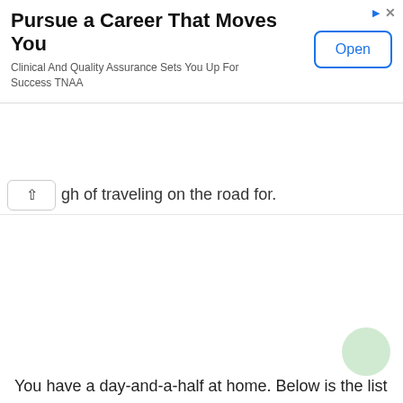[Figure (other): Advertisement banner: 'Pursue a Career That Moves You' with subtitle 'Clinical And Quality Assurance Sets You Up For Success TNAA' and an 'Open' button. Ad icons (triangle and X) in top-right corner.]
gh of traveling on the road for.
You have a day-and-a-half at home. Below is the list